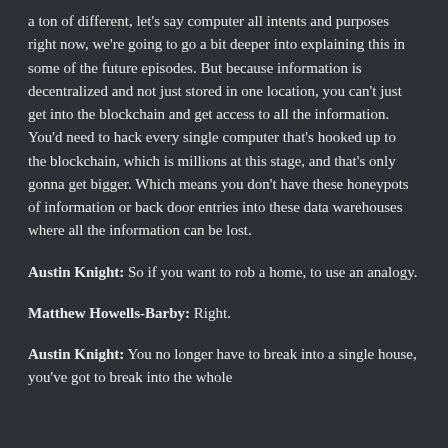a ton of different, let's say computer all intents and purposes right now, we're going to go a bit deeper into explaining this in some of the future episodes. But because information is decentralized and not just stored in one location, you can't just get into the blockchain and get access to all the information. You'd need to hack every single computer that's hooked up to the blockchain, which is millions at this stage, and that's only gonna get bigger. Which means you don't have these honeypots of information or back door entries into these data warehouses where all the information can be lost.
Austin Knight: So if you want to rob a home, to use an analogy.
Matthew Howells-Barby: Right.
Austin Knight: You no longer have to break into a single house, you've got to break into the whole